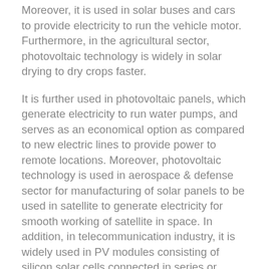Moreover, it is used in solar buses and cars to provide electricity to run the vehicle motor. Furthermore, in the agricultural sector, photovoltaic technology is widely in solar drying to dry crops faster.
It is further used in photovoltaic panels, which generate electricity to run water pumps, and serves as an economical option as compared to new electric lines to provide power to remote locations. Moreover, photovoltaic technology is used in aerospace & defense sector for manufacturing of solar panels to be used in satellite to generate electricity for smooth working of satellite in space. In addition, in telecommunication industry, it is widely used in PV modules consisting of silicon solar cells connected in series or parallel that provide the required charging current for batteries, thus